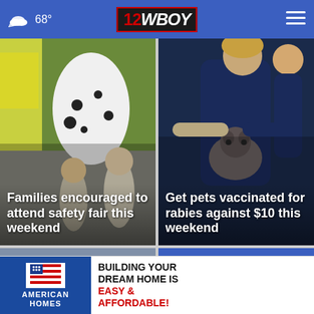68° | 12WBOY
[Figure (photo): Families at safety fair with dalmatian costume and children near a fire truck]
Families encouraged to attend safety fair this weekend
[Figure (photo): Veterinarian holding a small dog for rabies vaccination]
Get pets vaccinated for rabies against $10 this weekend
[Figure (photo): Stone building with striped roof, video play icon overlay]
[Figure (photo): Person with pink hair, blurred face, with close button and save now advertisement]
[Figure (advertisement): American Homes advertisement: Building your dream home is easy & affordable! Save now!]